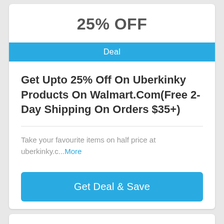25% OFF
Deal
Get Upto 25% Off On Uberkinky Products On Walmart.Com(Free 2-Day Shipping On Orders $35+)
Take your favourite items on half price at uberkinky.c...More
Get Deal & Save
Verified Deal